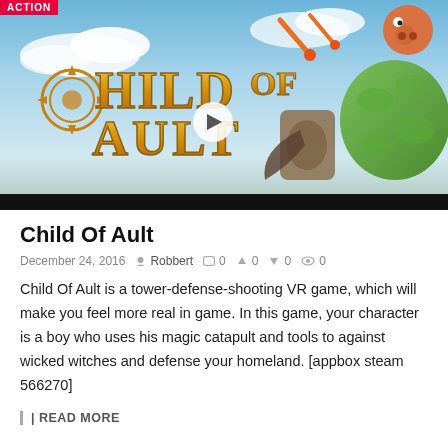[Figure (illustration): Child Of Ault game banner image showing golden fantasy logo text 'Child Of Ault' with a play button overlay, blue sky background, fireballs, and a green creature character on the right side. Red ACTION badge in top-left corner.]
Child Of Ault
December 24, 2016  Robbert  0  0  0  0
Child Of Ault is a tower-defense-shooting VR game, which will make you feel more real in game. In this game, your character is a boy who uses his magic catapult and tools to against wicked witches and defense your homeland. [appbox steam 566270]
READ MORE